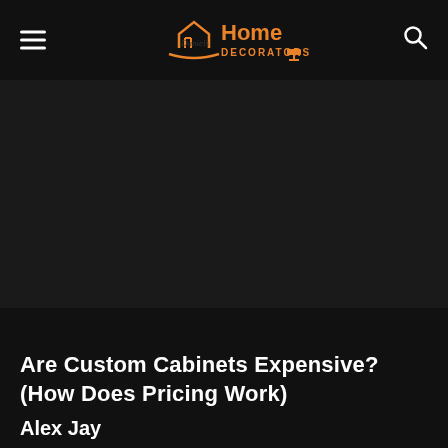Daniels Home Decorators
[Figure (photo): Dark hero image area for an article about custom cabinets]
Are Custom Cabinets Expensive? (How Does Pricing Work)
Alex Jay